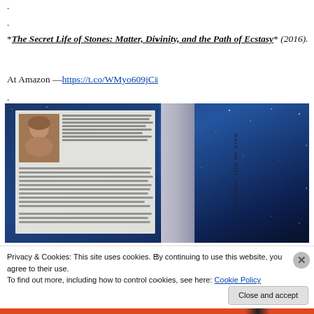·
·
*The Secret Life of Stones: Matter, Divinity, and the Path of Ecstasy* (2016).
At Amazon — https://t.co/WMyo609jCi
·
[Figure (photo): Book cover image of 'The Secret Life of Stones' showing author photo on back cover with text, spine with title, and starry night sky on front cover]
Privacy & Cookies: This site uses cookies. By continuing to use this website, you agree to their use.
To find out more, including how to control cookies, see here: Cookie Policy
Close and accept